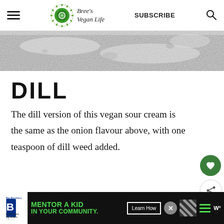Bree's Vegan Life — SUBSCRIBE
[Figure (photo): Close-up photo of a white/grey powdery substance, likely vegan sour cream or a similar food ingredient, textured and granular.]
DILL
The dill version of this vegan sour cream is the same as the onion flavour above, with one teaspoon of dill weed added.
[Figure (infographic): Advertisement banner at the bottom: Big Brothers Big Sisters logo, 'MENTOR A KID IN YOUR COMMUNITY.' text in green, 'Learn How' button, close button, and weather/menu icons.]